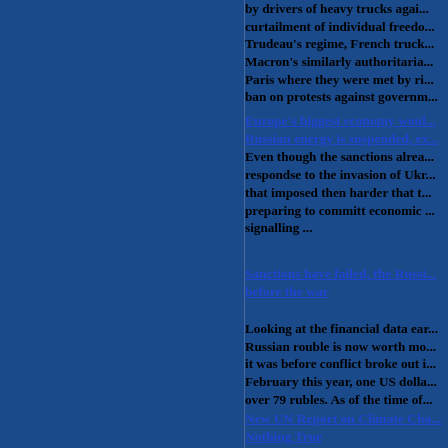by drivers of heavy trucks against curtailment of individual freedoms by Trudeau's regime, French truck drivers Macron's similarly authoritarian headed Paris where they were met by riots and ban on protests against government.
Europe's biggest economy would tank if Russian energy is suspended, experts say. Even though the sanctions already imposed in respondse to the invasion of Ukraine are harder that imposed then harder that that, preparing to committ economic suicide, signalling ...
Sanctions have failed, the Russian rouble is stronger before the war
Looking at the financial data early - Russian rouble is now worth more than it was before conflict broke out in February this year, one US dollar bought over 79 rubles. As of the time of
New UN Report on Climate Change Contains Nothing True